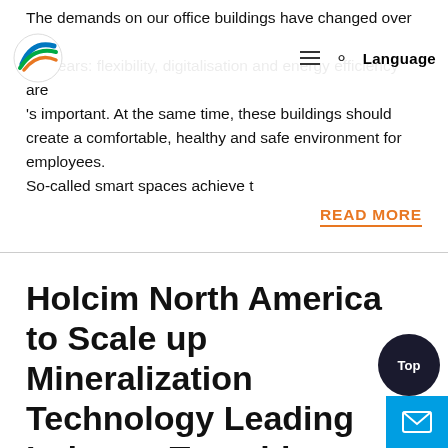The demands on our office buildings have changed over the few years: flexibility, digitalisation and energy efficiency are 's important. At the same time, these buildings should create a comfortable, healthy and safe environment for employees.
So-called smart spaces achieve t
Language
READ MORE
Holcim North America to Scale up Mineralization Technology Leading Industry Transition to Net Zero | Your Money |